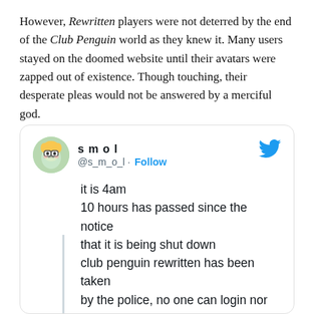However, Rewritten players were not deterred by the end of the Club Penguin world as they knew it. Many users stayed on the doomed website until their avatars were zapped out of existence. Though touching, their desperate pleas would not be answered by a merciful god.
[Figure (screenshot): Embedded tweet from user 'smol' (@s_m_o_l) with a Follow button and Twitter bird icon. Tweet text: 'it is 4am
10 hours has passed since the notice that it is being shut down
club penguin rewritten has been taken by the police, no one can login nor access the site

i refuse to leave the mines. they are taking us one by one. we will sit here until the true end']